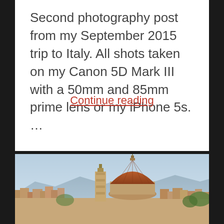Second photography post from my September 2015 trip to Italy. All shots taken on my Canon 5D Mark III with a 50mm and 85mm prime lens or my iPhone 5s. ...
Continue reading
[Figure (photo): Aerial/panoramic view of Florence, Italy showing the Cathedral of Santa Maria del Fiore (Duomo) with its iconic red dome and the Giotto bell tower, with city rooftops and mountains in the background under a hazy blue sky.]